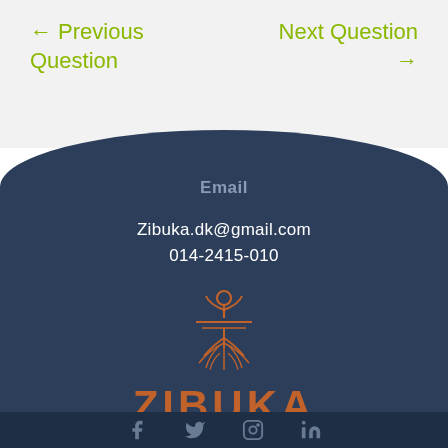← Previous Question
Next Question →
Email
Zibuka.dk@gmail.com
014-2415-010
[Figure (logo): Zibuka logo: orange plant/roots illustration above the word ZIBUKA in orange capital letters]
Social media icons row